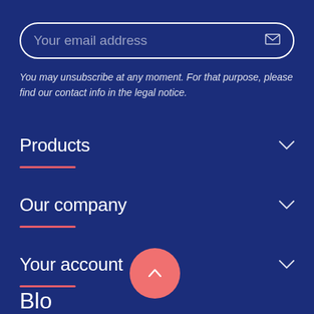Your email address
You may unsubscribe at any moment. For that purpose, please find our contact info in the legal notice.
Products
Our company
Your account